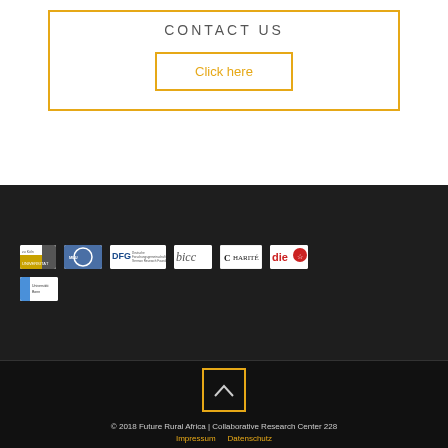CONTACT US
Click here
[Figure (logo): Row of partner institution logos including Universität Köln, DFG, bicc, Charité, die, and Universität Bonn on dark background]
[Figure (other): Back to top button: square with upward chevron arrow, orange border]
© 2018 Future Rural Africa | Collaborative Research Center 228 Impressum  Datenschutz